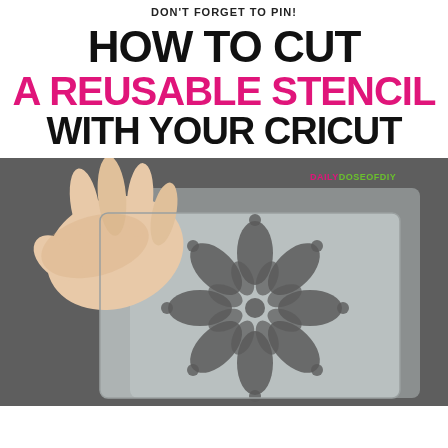DON'T FORGET TO PIN!
HOW TO CUT A REUSABLE STENCIL WITH YOUR CRICUT
[Figure (photo): A hand holding up a clear plastic reusable stencil with a mandala/flower pattern cut out, lying on a dark gray surface. Watermark reads DAILY DOSE OF DIY.]